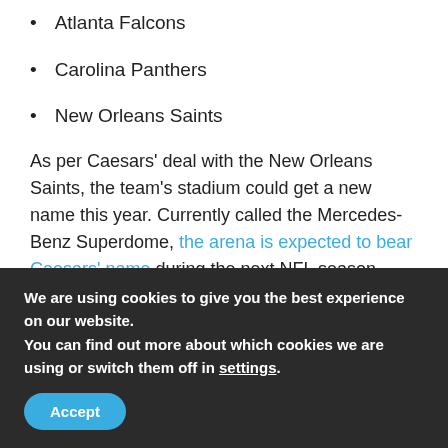Atlanta Falcons
Carolina Panthers
New Orleans Saints
As per Caesars' deal with the New Orleans Saints, the team's stadium could get a new name this year. Currently called the Mercedes-Benz Superdome, the arena is expected to bear Caesars' name during the next NFL season.
The 2021 NFL deal is meant to cement Caesar's reputation as America's favorite casino operator. It's also meant to help the company with its online sportsbook, which is currently available in three states – Nevada, New Jersey, and Pennsylvania.
We are using cookies to give you the best experience on our website.
You can find out more about which cookies we are using or switch them off in settings.